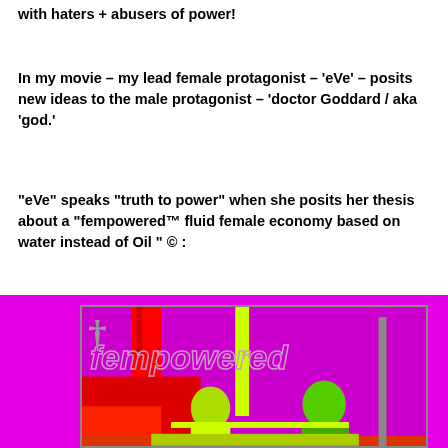with haters + abusers of power!
In my movie – my lead female protagonist – 'eVe' – posits new ideas to the male protagonist – 'doctor Goddard / aka 'god.'
“eVe” speaks “truth to power” when she posits her thesis about a “fempowered™ fluid female economy based on water instead of Oil ” © :
[Figure (photo): High-contrast magenta/neon colored artistic image with the word 'fempowered' overlaid on a scene showing two people. The background is bright magenta/purple with neon yellow-green and red color effects.]